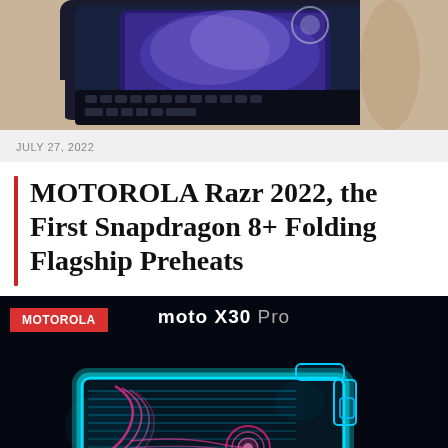[Figure (photo): Cropped photo of a smartphone/device being held, showing a partial view of a phone with a keyboard visible, purple/blue screen tones]
JULY 27, 2022
MOTOROLA Razr 2022, the First Snapdragon 8+ Folding Flagship Preheats
[Figure (photo): Promotional image for moto X30 Pro on black background showing a glowing cyan/blue neon outline of a smartphone with pink/magenta swirling elements inside, with a red MOTOROLA label badge in top left]